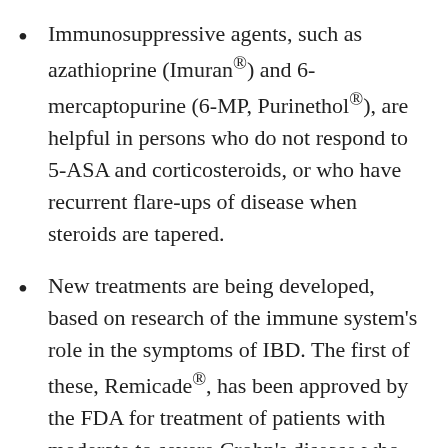Immunosuppressive agents, such as azathioprine (Imuran®) and 6-mercaptopurine (6-MP, Purinethol®), are helpful in persons who do not respond to 5-ASA and corticosteroids, or who have recurrent flare-ups of disease when steroids are tapered.
New treatments are being developed, based on research of the immune system's role in the symptoms of IBD. The first of these, Remicade®, has been approved by the FDA for treatment of patients with moderate to severe Crohn's disease who have not responded to conventional therapy. Remicade targets TNF-alpha. This chemical, which is secreted by cells in the immune